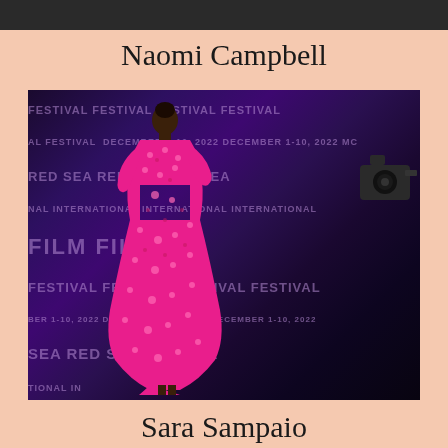[Figure (photo): Partial top strip of a photo visible at top of page]
Naomi Campbell
[Figure (photo): Naomi Campbell in a bright pink floral/feather floor-length gown with a train, standing on a red carpet at the Red Sea International Film Festival, December 1-10, 2022, with a film camera visible in background]
Sara Sampaio